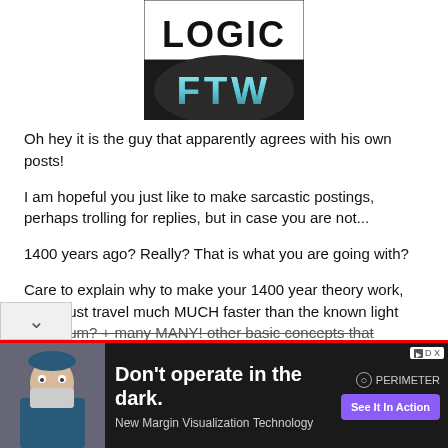[Figure (logo): Logo image showing 'LOGIC FTW' - top half white background with bold black text 'LOGIC', bottom half dark background with metallic blue/silver text 'FTW']
Oh hey it is the guy that apparently agrees with his own posts!
I am hopeful you just like to make sarcastic postings, perhaps trolling for replies, but in case you are not...
1400 years ago? Really? That is what you are going with?
Care to explain why to make your 1400 year theory work, light must travel much MUCH faster than the known light maximum? + many MANY! other basic concepts that
"Why There Is No God" for free by joining our
[Figure (advertisement): Advertisement bar: Dark background. Left side shows a photo of a surgeon/medical professional in mask and scrubs. Text reads 'Don't operate in the dark.' in bold white, 'New Margin Visualization Technology' in gray. Right side shows PERIMETER logo and purple 'See It In Action' button. Small 'DX' ad tag in top right corner.]